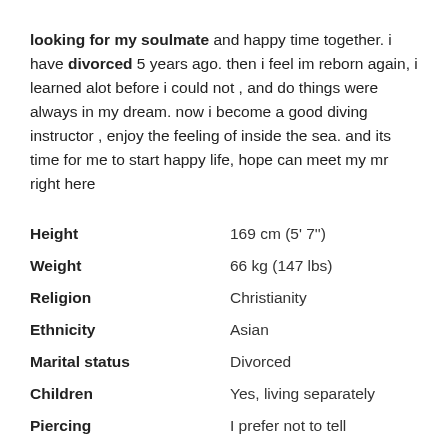looking for my soulmate and happy time together. i have divorced 5 years ago. then i feel im reborn again, i learned alot before i could not , and do things were always in my dream. now i become a good diving instructor , enjoy the feeling of inside the sea. and its time for me to start happy life, hope can meet my mr right here
| Attribute | Value |
| --- | --- |
| Height | 169 cm (5' 7") |
| Weight | 66 kg (147 lbs) |
| Religion | Christianity |
| Ethnicity | Asian |
| Marital status | Divorced |
| Children | Yes, living separately |
| Piercing | I prefer not to tell |
| Tattoos |  |